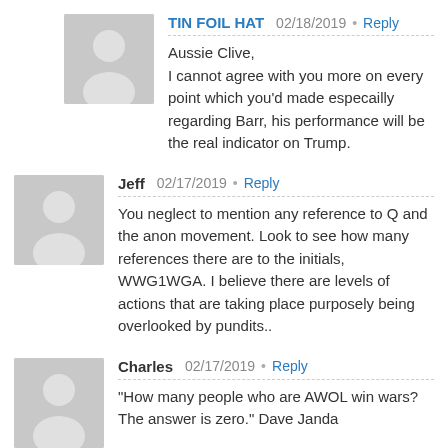TIN FOIL HAT   02/18/2019 • Reply
Aussie Clive,
I cannot agree with you more on every point which you'd made especailly regarding Barr, his performance will be the real indicator on Trump.
Jeff   02/17/2019 • Reply
You neglect to mention any reference to Q and the anon movement. Look to see how many references there are to the initials, WWG1WGA. I believe there are levels of actions that are taking place purposely being overlooked by pundits..
Charles   02/17/2019 • Reply
"How many people who are AWOL win wars? The answer is zero." Dave Janda